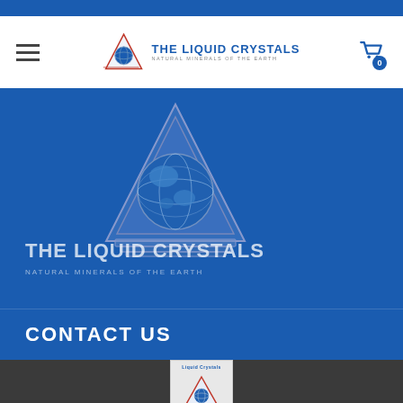[Figure (logo): The Liquid Crystals logo in website navigation header with hamburger menu and cart icon]
[Figure (logo): Large hero The Liquid Crystals triangle logo with globe on blue background]
THE LIQUID CRYSTALS
NATURAL MINERALS OF THE EARTH
CONTACT US
[Figure (illustration): Small book/product image showing The Liquid Crystals VS III product in footer]